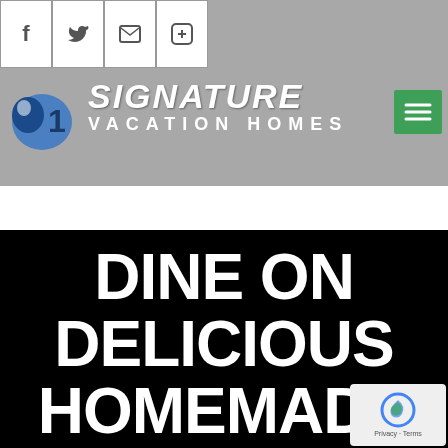SIGNATURE VACATION HOMES
DINE ON DELICIOUS HOMEMADE AMERICAN COMFORT